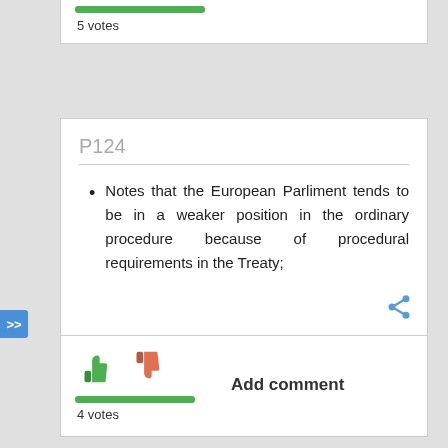[Figure (other): Partial top card showing green vote bar and '5 votes' text at top of page]
5 votes
P124
Notes that the European Parliment tends to be in a weaker position in the ordinary procedure because of procedural requirements in the Treaty;
[Figure (other): Share icon (network/share symbol in blue)]
[Figure (other): Thumbs up (green) and thumbs down (orange-red) icons with green vote bar and '4 votes' text, plus 'Add comment' button]
Add comment
4 votes